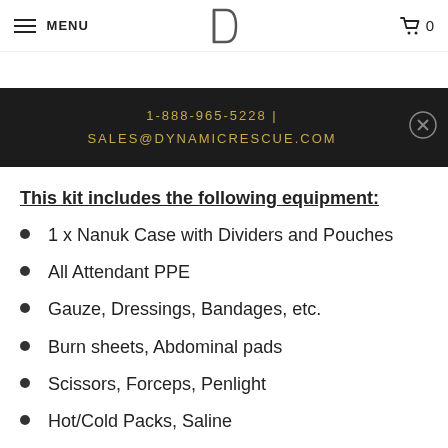MENU | [logo] | 🛒 0
cut, tied, labeled, and documented. Why make work or rescue any harder than it.
1-888-965-5228 | SALES@DYNAMICRESCUE.COM
This kit includes the following equipment:
1 x Nanuk Case with Dividers and Pouches
All Attendant PPE
Gauze, Dressings, Bandages, etc.
Burn sheets, Abdominal pads
Scissors, Forceps, Penlight
Hot/Cold Packs, Saline
Glucogel, Blankets, Alcohol Wipes